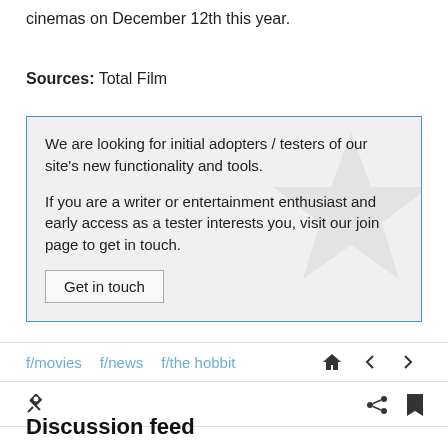cinemas on December 12th this year.
Sources: Total Film
We are looking for initial adopters / testers of our site's new functionality and tools.

If you are a writer or entertainment enthusiast and early access as a tester interests you, visit our join page to get in touch.

Get in touch
f/movies  f/news  f/the hobbit
Discussion feed